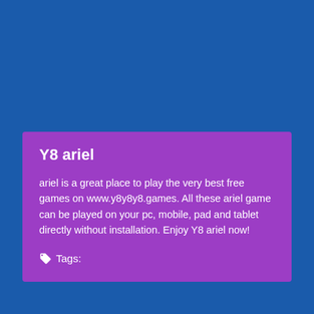Y8 ariel
ariel is a great place to play the very best free games on www.y8y8y8.games. All these ariel game can be played on your pc, mobile, pad and tablet directly without installation. Enjoy Y8 ariel now!
Tags: